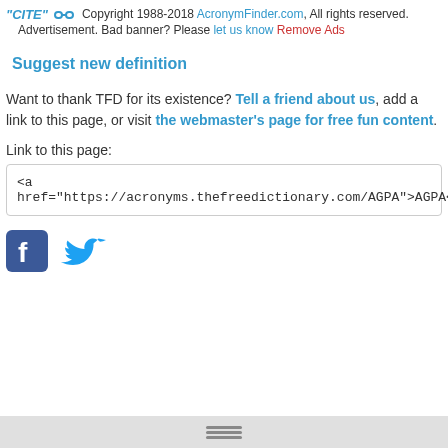"CITE" [link icon] Copyright 1988-2018 AcronymFinder.com, All rights reserved. Advertisement. Bad banner? Please let us know Remove Ads
Suggest new definition
Want to thank TFD for its existence? Tell a friend about us, add a link to this page, or visit the webmaster's page for free fun content.
Link to this page:
<a href="https://acronyms.thefreedictionary.com/AGPA">AGPA</a>
[Figure (logo): Facebook and Twitter social media icons]